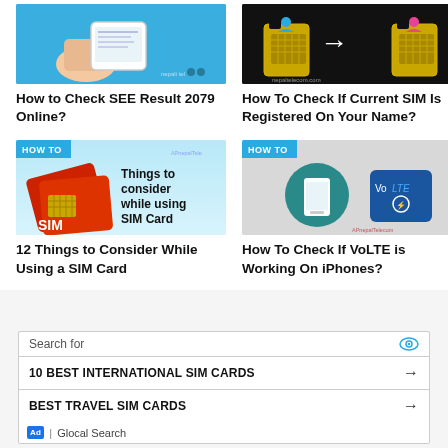[Figure (photo): Hand holding phone showing SEE result page, blue background]
How to Check SEE Result 2079 Online?
[Figure (photo): SIM card registration check graphic, dark background with SIM icons]
How To Check If Current SIM Is Registered On Your Name?
[Figure (photo): HOW TO badge with red SIM cards and text 'Things to consider while using SIM Card']
12 Things to Consider While Using a SIM Card
[Figure (photo): HOW TO badge with smartphone and VoLTE logo on grey background]
How To Check If VoLTE is Working On iPhones?
Search for
10 BEST INTERNATIONAL SIM CARDS →
BEST TRAVEL SIM CARDS →
Ad | Glocal Search